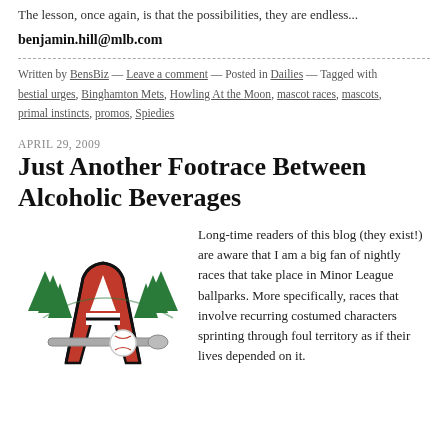The lesson, once again, is that the possibilities, they are endless...
benjamin.hill@mlb.com
Written by BensBiz — Leave a comment — Posted in Dailies — Tagged with bestial urges, Binghamton Mets, Howling At the Moon, mascot races, mascots, primal instincts, promos, Spiedies
APRIL 29, 2009
Just Another Footrace Between Alcoholic Beverages
[Figure (logo): Minor league baseball team logo featuring a stylized letter A with trees and a baseball bat and ball]
Long-time readers of this blog (they exist!) are aware that I am a big fan of nightly races that take place in Minor League ballparks. More specifically, races that involve recurring costumed characters sprinting through foul territory as if their lives depended on it.